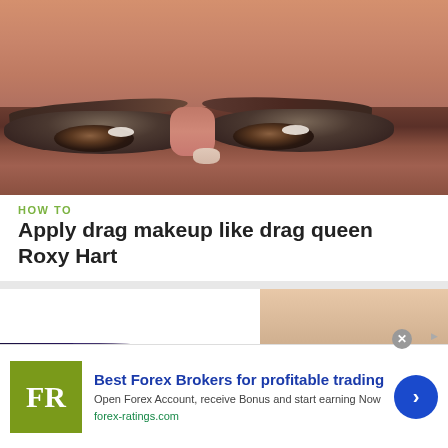[Figure (photo): Close-up photo of a person's eyes with dramatic drag makeup including dark eyeshadow and shaped brows]
HOW TO
Apply drag makeup like drag queen Roxy Hart
[Figure (photo): Close-up photo of an eye with dramatic pink and dark blue/purple drag queen eyeshadow makeup]
Best Forex Brokers for profitable trading
Open Forex Account, receive Bonus and start earning Now
forex-ratings.com